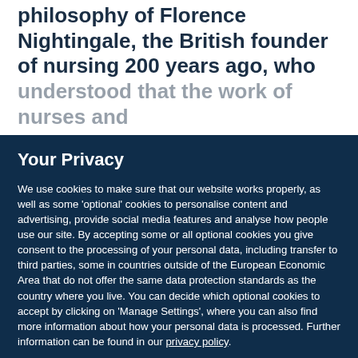philosophy of Florence Nightingale, the British founder of nursing 200 years ago, who understood that the work of nurses and
Your Privacy
We use cookies to make sure that our website works properly, as well as some 'optional' cookies to personalise content and advertising, provide social media features and analyse how people use our site. By accepting some or all optional cookies you give consent to the processing of your personal data, including transfer to third parties, some in countries outside of the European Economic Area that do not offer the same data protection standards as the country where you live. You can decide which optional cookies to accept by clicking on 'Manage Settings', where you can also find more information about how your personal data is processed. Further information can be found in our privacy policy.
Accept all cookies
Manage preferences